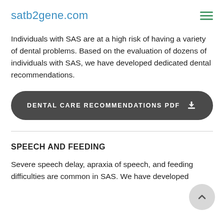satb2gene.com
Individuals with SAS are at a high risk of having a variety of dental problems. Based on the evaluation of dozens of individuals with SAS, we have developed dedicated dental recommendations.
[Figure (other): Dark rounded button labeled 'DENTAL CARE RECOMMENDATIONS PDF' with a download icon]
SPEECH AND FEEDING
Severe speech delay, apraxia of speech, and feeding difficulties are common in SAS. We have developed